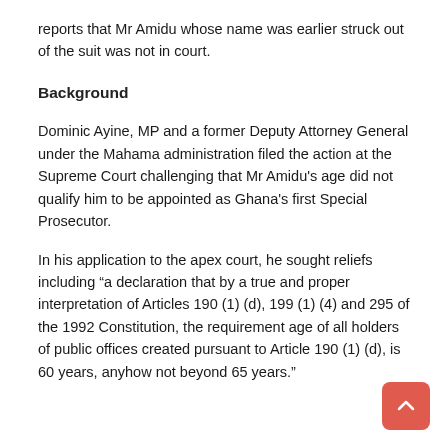reports that Mr Amidu whose name was earlier struck out of the suit was not in court.
Background
Dominic Ayine, MP and a former Deputy Attorney General under the Mahama administration filed the action at the Supreme Court challenging that Mr Amidu’s age did not qualify him to be appointed as Ghana’s first Special Prosecutor.
In his application to the apex court, he sought reliefs including “a declaration that by a true and proper interpretation of Articles 190 (1) (d), 199 (1) (4) and 295 of the 1992 Constitution, the requirement age of all holders of public offices created pursuant to Article 190 (1) (d), is 60 years, anyhow not beyond 65 years.”